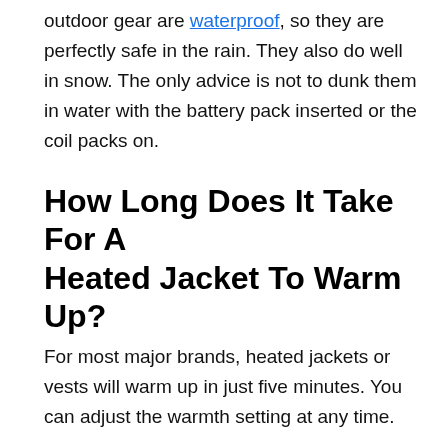outdoor gear are waterproof, so they are perfectly safe in the rain. They also do well in snow. The only advice is not to dunk them in water with the battery pack inserted or the coil packs on.
How Long Does It Take For A Heated Jacket To Warm Up?
For most major brands, heated jackets or vests will warm up in just five minutes. You can adjust the warmth setting at any time.
Conclusion
Investing in heated apparel is a great idea if you plan